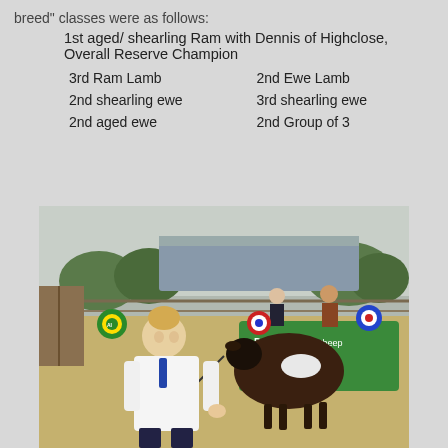breed" classes were as follows:
1st aged/ shearling Ram with Dennis of Highclose, Overall Reserve Champion
3rd Ram Lamb
2nd Ewe Lamb
2nd shearling ewe
3rd shearling ewe
2nd aged ewe
2nd Group of 3
[Figure (photo): A woman in a white coat and blue tie kneels beside a dark brown and white Dutch Spotted sheep at an agricultural show. The sheep wears a red, white and blue champion rosette. Behind them is a green Dutch Spotted Sheep banner, and in the background are livestock pens, trucks, trees, and other people at the show.]